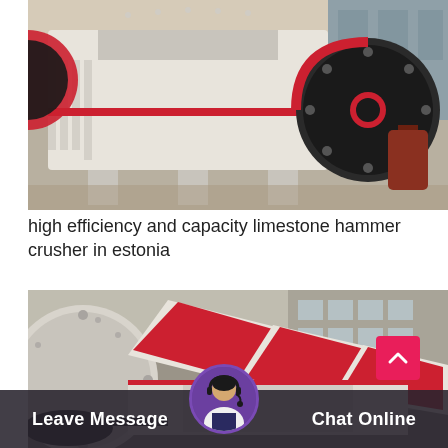[Figure (photo): Industrial hammer crusher machine painted white and red, photographed in a factory/warehouse setting with large flywheel visible on the right side.]
high efficiency and capacity limestone hammer crusher in estonia
[Figure (photo): Large industrial hammer crusher or impact crusher photographed outdoors near a factory building, showing red and white body panels with a large circular rotor disc on the left side.]
Leave Message
Chat Online